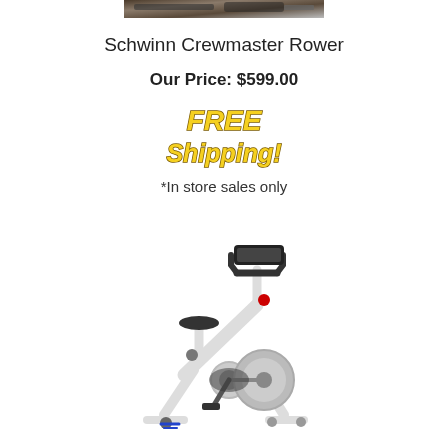[Figure (photo): Partial photo of Schwinn Crewmaster Rower machine at top of page]
Schwinn Crewmaster Rower
Our Price: $599.00
[Figure (infographic): FREE Shipping! badge with gold stylized text]
*In store sales only
[Figure (photo): White spinning exercise bike (indoor cycling bike) with black seat and handlebars]